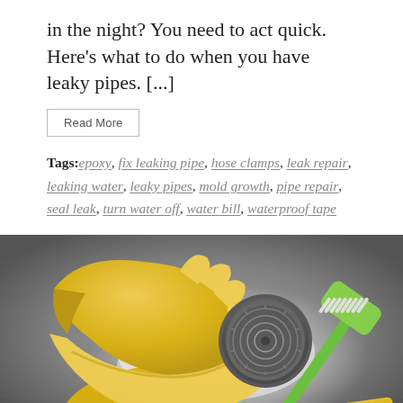in the night? You need to act quick. Here's what to do when you have leaky pipes. [...]
Read More
Tags: epoxy, fix leaking pipe, hose clamps, leak repair, leaking water, leaky pipes, mold growth, pipe repair, seal leak, turn water off, water bill, waterproof tape
[Figure (photo): Yellow rubber cleaning gloves, a green scrub brush, and a yellow sponge laid on a stainless steel sink with white powder cleaner around the drain.]